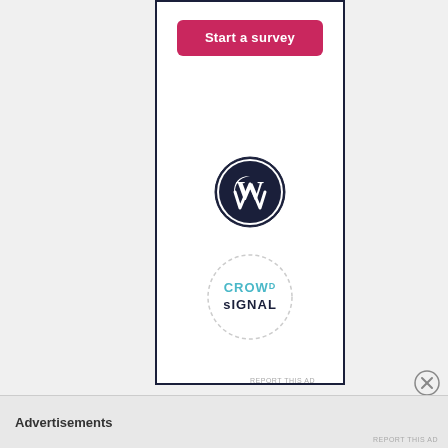[Figure (screenshot): Advertisement panel with a pink 'Start a survey' button at the top, a WordPress logo (W in a dark circle) in the middle, and a Crowdsignal logo (text in a dotted circle) below it, all within a dark-bordered white rectangle.]
REPORT THIS AD
Advertisements
REPORT THIS AD